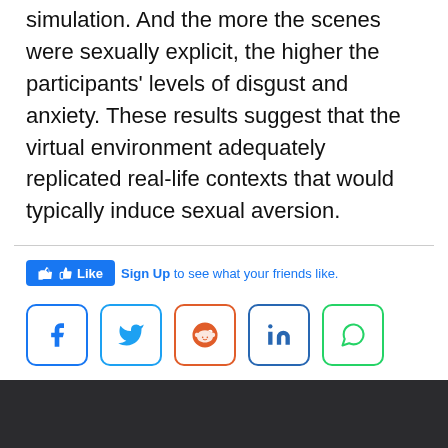aversive participants in response to the simulation. And the more the scenes were sexually explicit, the higher the participants' levels of disgust and anxiety. These results suggest that the virtual environment adequately replicated real-life contexts that would typically induce sexual aversion.
[Figure (screenshot): Facebook Like button with Sign Up link and social sharing icons (Facebook, Twitter, Reddit, LinkedIn, WhatsApp)]